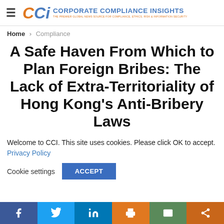Corporate Compliance Insights — THE PREMIER GLOBAL NEWS SOURCE FOR COMPLIANCE, ETHICS, RISK & INFORMATION SECURITY
Home › Compliance
A Safe Haven From Which to Plan Foreign Bribes: The Lack of Extra-Territoriality of Hong Kong's Anti-Bribery Laws
Welcome to CCI. This site uses cookies. Please click OK to accept. Privacy Policy
Cookie settings   ACCEPT
Social share bar: Facebook, Twitter, LinkedIn, Print, Email, Share